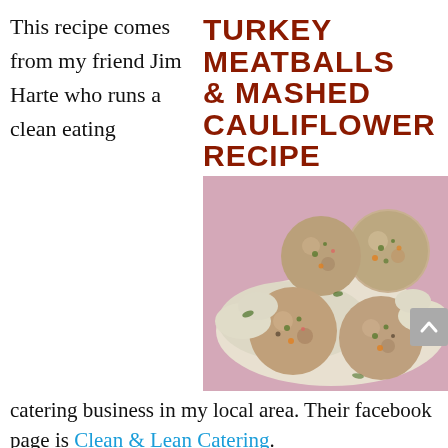This recipe comes from my friend Jim Harte who runs a clean eating catering business in my local area. Their facebook page is Clean & Lean Catering.
TURKEY MEATBALLS & MASHED CAULIFLOWER RECIPE
[Figure (photo): Photo of turkey meatballs served on mashed cauliflower, garnished with herbs, on a pink/purple plate]
If you want high protein, healthy food and you don't want to cook, this is the